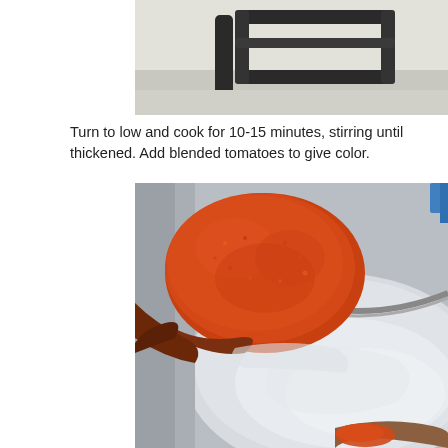[Figure (photo): Top portion of a stove grill/grate visible at top of page, cropped]
Turn to low and cook for 10-15 minutes, stirring until thickened. Add blended tomatoes to give color.
[Figure (photo): A spoon or ladle with bright orange-red blended tomato mixture being added to a pot of white/milky liquid, with another spoon visible at the bottom right]